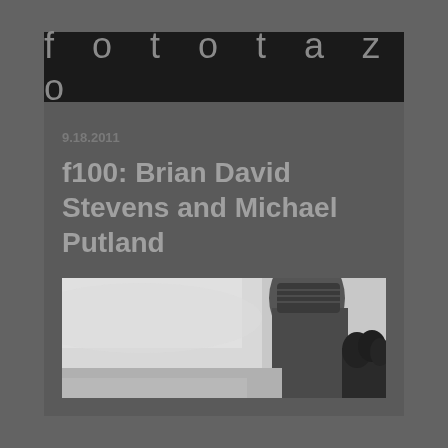fototazo
9.18.2011
f100: Brian David Stevens and Michael Putland
[Figure (photo): Black and white photograph showing a person from behind wearing a knit cap, with a grey overcast sky background and dark treeline visible on the right edge.]